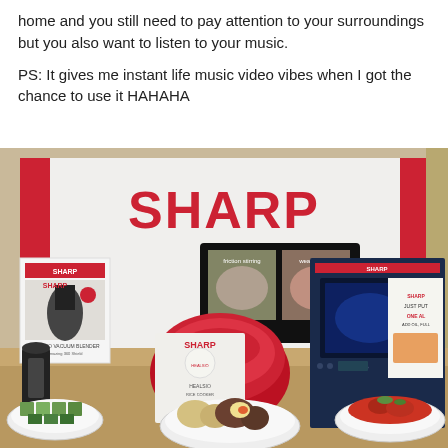home and you still need to pay attention to your surroundings but you also want to listen to your music.

PS: It gives me instant life music video vibes when I got the chance to use it HAHAHA
[Figure (photo): A display booth showing Sharp brand kitchen appliances including a red rice cooker, blender, and oven/microwave on a table. The Sharp logo is prominently displayed on a white backdrop. A TV screen on the wall shows cooking images. Plates of food are arranged on the table in front.]